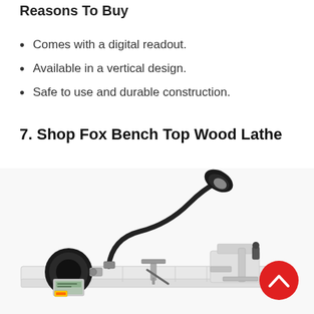Reasons To Buy
Comes with a digital readout.
Available in a vertical design.
Safe to use and durable construction.
7. Shop Fox Bench Top Wood Lathe
[Figure (photo): A Shop Fox Bench Top Wood Lathe, white and black, with a gooseneck lamp attached, digital readout on the motor housing, tool rest in the center, and tailstock on the right. A red scroll-to-top button is overlaid in the lower right.]